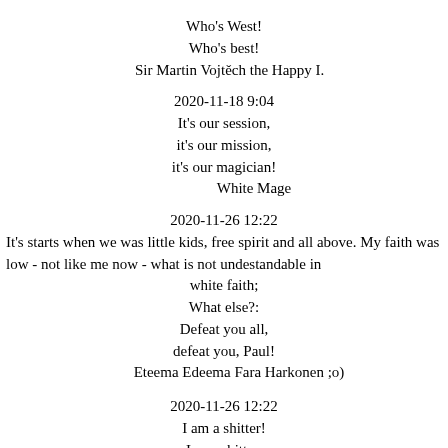Who's West!
Who's best!
Sir Martin Vojtěch the Happy I.
2020-11-18 9:04
It's our session,
it's our mission,
it's our magician!
White Mage
2020-11-26 12:22
It's starts when we was little kids, free spirit and all above. My faith was low - not like me now - what is not undestandable in white faith;
What else?:
Defeat you all,
defeat you, Paul!
Eteema Edeema Fara Harkonen ;o)
2020-11-26 12:22
I am a shitter!
I am a bitter,
for a Little,
killing in a FUN!